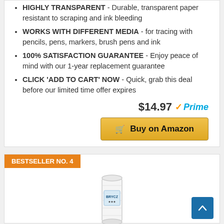HIGHLY TRANSPARENT - Durable, transparent paper resistant to scraping and ink bleeding
WORKS WITH DIFFERENT MEDIA - for tracing with pencils, pens, markers, brush pens and ink
100% SATISFACTION GUARANTEE - Enjoy peace of mind with our 1-year replacement guarantee
CLICK 'ADD TO CART' NOW - Quick, grab this deal before our limited time offer expires
$14.97 Prime
Buy on Amazon
BESTSELLER NO. 4
[Figure (photo): A white roll of paper product (BRYCZ brand) standing upright]